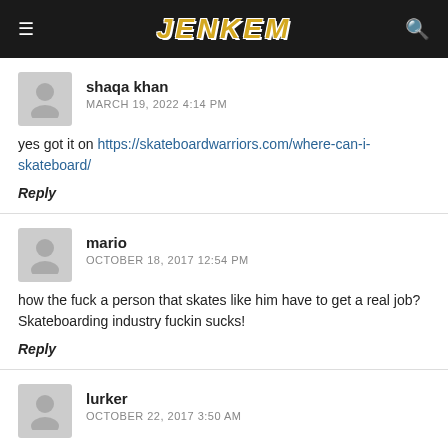JENKEM
shaqa khan
MARCH 19, 2022 4:14 PM
yes got it on https://skateboardwarriors.com/where-can-i-skateboard/
Reply
mario
OCTOBER 18, 2017 12:54 PM
how the fuck a person that skates like him have to get a real job? Skateboarding industry fuckin sucks!
Reply
lurker
OCTOBER 22, 2017 3:50 AM
he went to colombia 2 months ago to represent Dominican Rep, at the latin american games, on which skaters trying out to olimpics from almost all countrys of the region went. he did NOTHING. hes just got pop, nothing else. sorry not hating, check de videos.